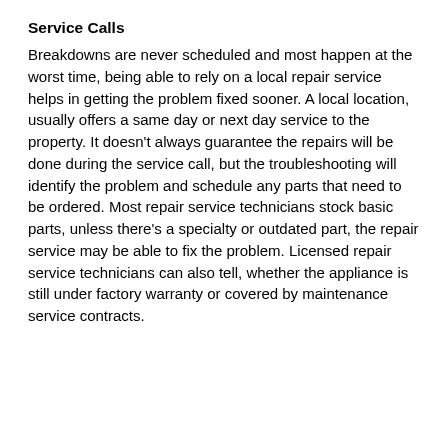Service Calls
Breakdowns are never scheduled and most happen at the worst time, being able to rely on a local repair service helps in getting the problem fixed sooner. A local location, usually offers a same day or next day service to the property. It doesn't always guarantee the repairs will be done during the service call, but the troubleshooting will identify the problem and schedule any parts that need to be ordered. Most repair service technicians stock basic parts, unless there's a specialty or outdated part, the repair service may be able to fix the problem. Licensed repair service technicians can also tell, whether the appliance is still under factory warranty or covered by maintenance service contracts.